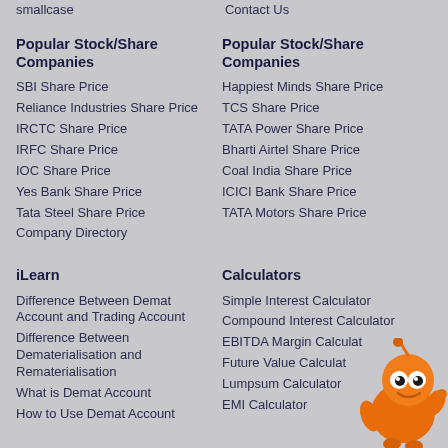smallcase
Contact Us
Popular Stock/Share Companies
Popular Stock/Share Companies
SBI Share Price
Happiest Minds Share Price
Reliance Industries Share Price
TCS Share Price
IRCTC Share Price
TATA Power Share Price
IRFC Share Price
Bharti Airtel Share Price
IOC Share Price
Coal India Share Price
Yes Bank Share Price
ICICI Bank Share Price
Tata Steel Share Price
TATA Motors Share Price
Company Directory
iLearn
Calculators
Difference Between Demat Account and Trading Account
Simple Interest Calculator
Difference Between Dematerialisation and Rematerialisation
Compound Interest Calculator
What is Demat Account
EBITDA Margin Calculator
How to Use Demat Account
Future Value Calculator
Lumpsum Calculator
EMI Calculator
[Figure (illustration): Orange cartoon mascot character with antenna, round eyes and waving pose]